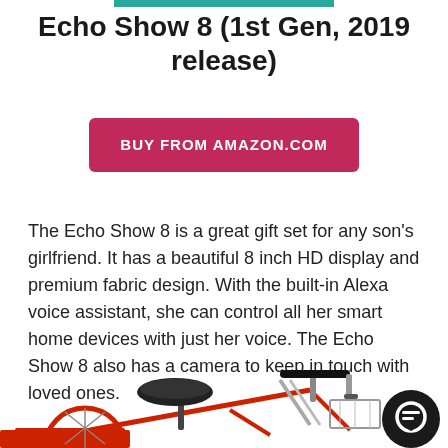Echo Show 8 (1st Gen, 2019 release)
BUY FROM AMAZON.COM
The Echo Show 8 is a great gift set for any son's girlfriend. It has a beautiful 8 inch HD display and premium fabric design. With the built-in Alexa voice assistant, she can control all her smart home devices with just her voice. The Echo Show 8 also has a camera to keep in touch with loved ones.
[Figure (photo): Partial view of a red bicycle showing handlebars, seat, and frame. A dark circular chat bubble icon appears in the bottom right corner.]